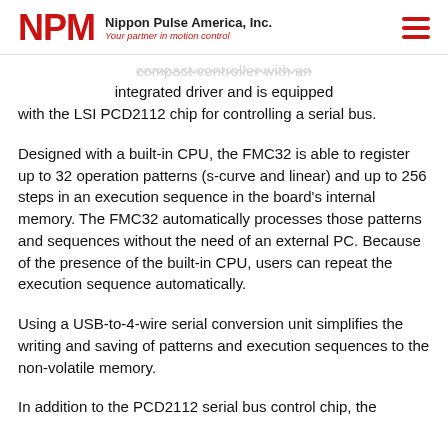NPM Nippon Pulse America, Inc. Your partner in motion control
compact controller with an integrated driver and is equipped with the LSI PCD2112 chip for controlling a serial bus.
Designed with a built-in CPU, the FMC32 is able to register up to 32 operation patterns (s-curve and linear) and up to 256 steps in an execution sequence in the board's internal memory. The FMC32 automatically processes those patterns and sequences without the need of an external PC. Because of the presence of the built-in CPU, users can repeat the execution sequence automatically.
Using a USB-to-4-wire serial conversion unit simplifies the writing and saving of patterns and execution sequences to the non-volatile memory.
In addition to the PCD2112 serial bus control chip, the